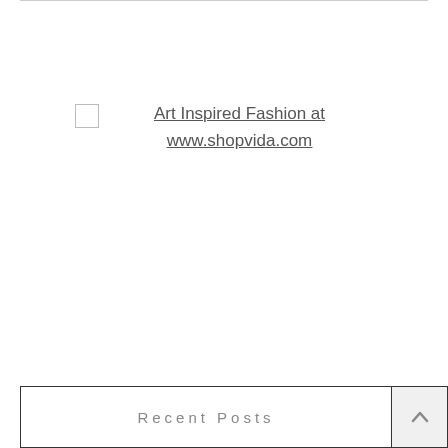Art Inspired Fashion at www.shopvida.com
Recent Posts